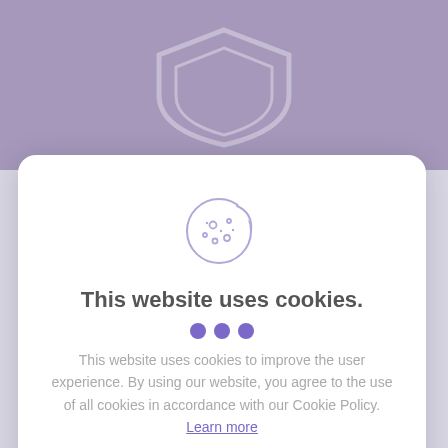[Figure (illustration): Cookie icon — a round cookie with a bite taken out of the upper right, with dots/chips on it, drawn in light purple outline style]
This website uses cookies.
This website uses cookies to improve the user experience. By using our website, you agree to the use of all cookies in accordance with our Cookie Policy. Learn more
GOT IT!